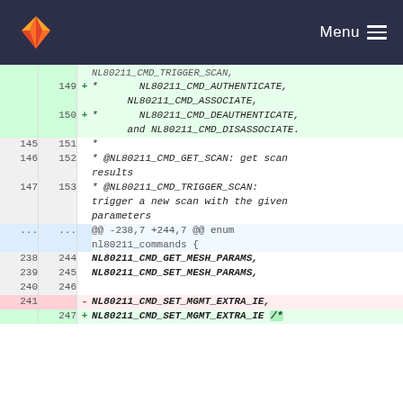GitLab navigation with logo and Menu
[Figure (screenshot): Code diff view showing changes to NL80211 commands enum in a C header file. Added lines 149-150 show NL80211_CMD_AUTHENTICATE, NL80211_CMD_ASSOCIATE, NL80211_CMD_DEAUTHENTICATE, and NL80211_CMD_DISASSOCIATE. Context lines show comments for NL80211_CMD_GET_SCAN and NL80211_CMD_TRIGGER_SCAN. Hunk header at lines 238/244 shows enum nl80211_commands. Line 241 removed NL80211_CMD_SET_MGMT_EXTRA_IE, and line 247 added NL80211_CMD_SET_MGMT_EXTRA_IE with additional content.]